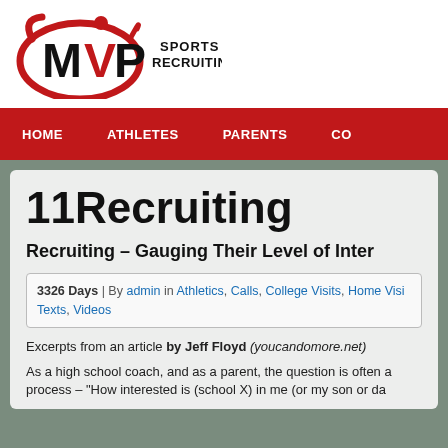[Figure (logo): MVP Sports Recruiting logo with red swoosh and figure, black bold lettering]
HOME   ATHLETES   PARENTS   CO...
11Recruiting
Recruiting – Gauging Their Level of Inter...
3326 Days | By admin in Athletics, Calls, College Visits, Home Visi... Texts, Videos
Excerpts from an article by Jeff Floyd (youcandomore.net)
As a high school coach, and as a parent, the question is often a... process – "How interested is (school X) in me (or my son or da...